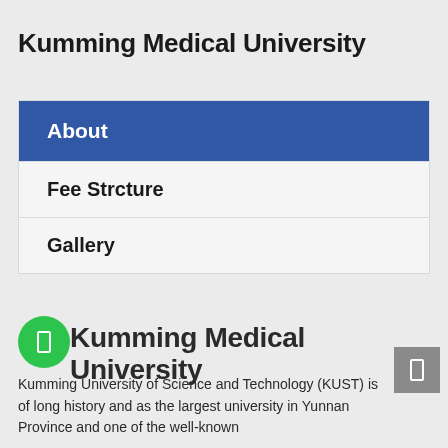Kumming Medical University
About
Fee Strcture
Gallery
Kumming Medical University
Kumming University of Science and Technology (KUST) is of long history and as the largest university in Yunnan Province and one of the well-known